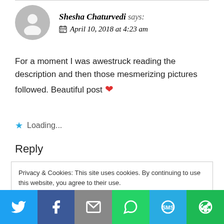[Figure (illustration): User avatar circle with silhouette icon, next to author name 'Shesha Chaturvedi says:' and date 'April 10, 2018 at 4:23 am' with calendar icon]
For a moment I was awestruck reading the description and then those mesmerizing pictures followed. Beautiful post ❤
★ Loading...
Reply
Privacy & Cookies: This site uses cookies. By continuing to use this website, you agree to their use.
To find out more, including how to control cookies, see here: Cookie Policy